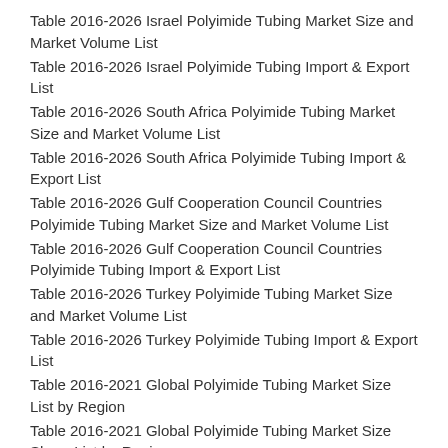Table 2016-2026 Israel Polyimide Tubing Market Size and Market Volume List
Table 2016-2026 Israel Polyimide Tubing Import & Export List
Table 2016-2026 South Africa Polyimide Tubing Market Size and Market Volume List
Table 2016-2026 South Africa Polyimide Tubing Import & Export List
Table 2016-2026 Gulf Cooperation Council Countries Polyimide Tubing Market Size and Market Volume List
Table 2016-2026 Gulf Cooperation Council Countries Polyimide Tubing Import & Export List
Table 2016-2026 Turkey Polyimide Tubing Market Size and Market Volume List
Table 2016-2026 Turkey Polyimide Tubing Import & Export List
Table 2016-2021 Global Polyimide Tubing Market Size List by Region
Table 2016-2021 Global Polyimide Tubing Market Size Share List by Region
Table 2016-2021 Global Polyimide Tubing Market Volume List by Region